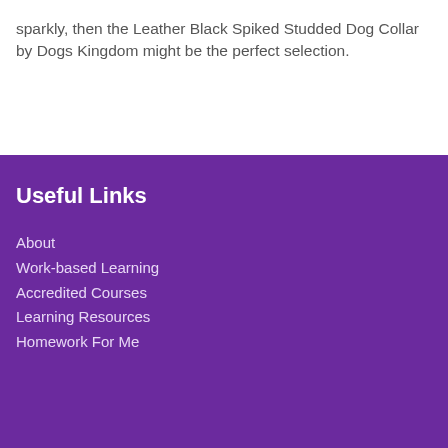sparkly, then the Leather Black Spiked Studded Dog Collar by Dogs Kingdom might be the perfect selection.
Useful Links
About
Work-based Learning
Accredited Courses
Learning Resources
Homework For Me